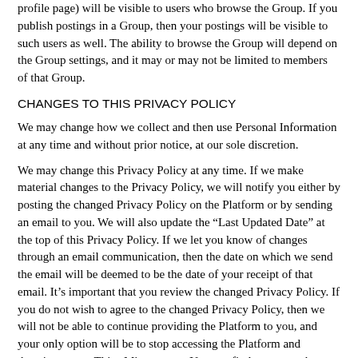profile page) will be visible to users who browse the Group. If you publish postings in a Group, then your postings will be visible to such users as well. The ability to browse the Group will depend on the Group settings, and it may or may not be limited to members of that Group.
CHANGES TO THIS PRIVACY POLICY
We may change how we collect and then use Personal Information at any time and without prior notice, at our sole discretion.
We may change this Privacy Policy at any time. If we make material changes to the Privacy Policy, we will notify you either by posting the changed Privacy Policy on the Platform or by sending an email to you. We will also update the “Last Updated Date” at the top of this Privacy Policy. If we let you know of changes through an email communication, then the date on which we send the email will be deemed to be the date of your receipt of that email. It’s important that you review the changed Privacy Policy. If you do not wish to agree to the changed Privacy Policy, then we will not be able to continue providing the Platform to you, and your only option will be to stop accessing the Platform and deactivate your ThirtyMin account. You can find out more about how to deactivate your ThirtyMin account at http://www.ThirtyMin.com/help.